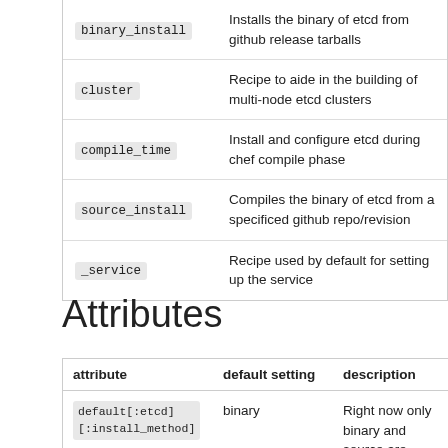|  |  |
| --- | --- |
| binary_install | Installs the binary of etcd from github release tarballs |
| cluster | Recipe to aide in the building of multi-node etcd clusters |
| compile_time | Install and configure etcd during chef compile phase |
| source_install | Compiles the binary of etcd from a specificed github repo/revision |
| _service | Recipe used by default for setting up the service |
Attributes
| attribute | default setting | description |
| --- | --- | --- |
| default[:etcd][:install_method] | binary | Right now only binary and source are supported. In the future this will probably go away as there are actu... distro packages |
| default[:etcd] |  | Extra arguments to pass t... |